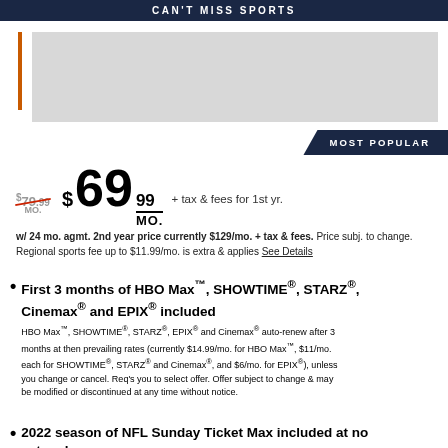CAN'T MISS SPORTS
[Figure (illustration): Orange vertical bar accent on left side, gray image placeholder block]
MOST POPULAR
$79.99/MO. $69 99/MO. + tax & fees for 1st yr.
w/ 24 mo. agmt. 2nd year price currently $129/mo. + tax & fees. Price subj. to change. Regional sports fee up to $11.99/mo. is extra & applies See Details
First 3 months of HBO Max™, SHOWTIME®, STARZ®, Cinemax® and EPIX® included
HBO Max™, SHOWTIME®, STARZ®, EPIX® and Cinemax® auto-renew after 3 months at then prevailing rates (currently $14.99/mo. for HBO Max™, $11/mo. each for SHOWTIME®, STARZ® and Cinemax®, and $6/mo. for EPIX®), unless you change or cancel. Req's you to select offer. Offer subject to change & may be modified or discontinued at any time without notice.
2022 season of NFL Sunday Ticket Max included at no extra charge